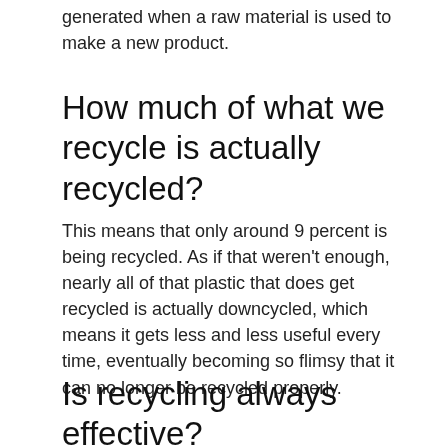generated when a raw material is used to make a new product.
How much of what we recycle is actually recycled?
This means that only around 9 percent is being recycled. As if that weren't enough, nearly all of that plastic that does get recycled is actually downcycled, which means it gets less and less useful every time, eventually becoming so flimsy that it can no longer be recycled properly.
Is recycling always effective?